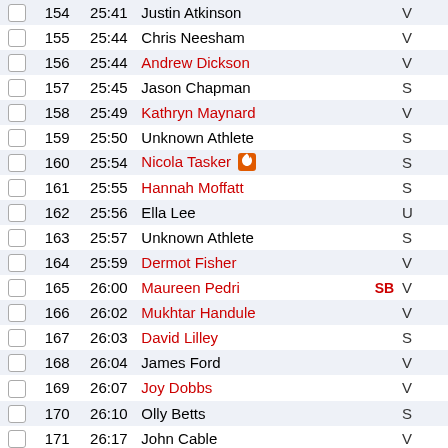|  | Pos | Time | Name | Badge | Club |
| --- | --- | --- | --- | --- | --- |
|  | 154 | 25:41 | Justin Atkinson |  | V |
|  | 155 | 25:44 | Chris Neesham |  | V |
|  | 156 | 25:44 | Andrew Dickson |  | V |
|  | 157 | 25:45 | Jason Chapman |  | S |
|  | 158 | 25:49 | Kathryn Maynard |  | V |
|  | 159 | 25:50 | Unknown Athlete |  | S |
|  | 160 | 25:54 | Nicola Tasker 🔥 |  | S |
|  | 161 | 25:55 | Hannah Moffatt |  | S |
|  | 162 | 25:56 | Ella Lee |  | U |
|  | 163 | 25:57 | Unknown Athlete |  | S |
|  | 164 | 25:59 | Dermot Fisher |  | V |
|  | 165 | 26:00 | Maureen Pedri | SB | V |
|  | 166 | 26:02 | Mukhtar Handule |  | V |
|  | 167 | 26:03 | David Lilley |  | S |
|  | 168 | 26:04 | James Ford |  | V |
|  | 169 | 26:07 | Joy Dobbs |  | V |
|  | 170 | 26:10 | Olly Betts |  | S |
|  | 171 | 26:17 | John Cable |  | V |
|  | 172 | 26:20 | Ian Gascoigne |  | V |
|  | 173 | 26:25 | Paul Anthony James |  | V |